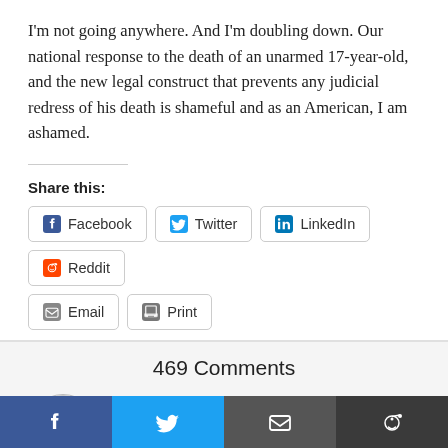I'm not going anywhere. And I'm doubling down. Our national response to the death of an unarmed 17-year-old, and the new legal construct that prevents any judicial redress of his death is shameful and as an American, I am ashamed.
Share this:
Facebook   Twitter   LinkedIn   Reddit   Email   Print
469 Comments
Laser Haas